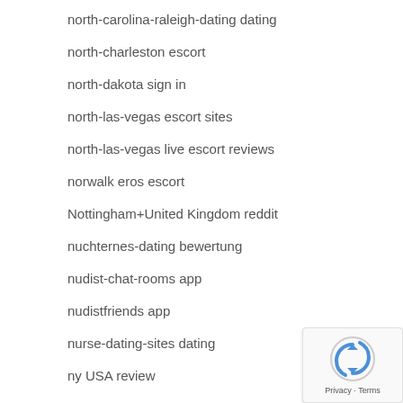north-carolina-raleigh-dating dating
north-charleston escort
north-dakota sign in
north-las-vegas escort sites
north-las-vegas live escort reviews
norwalk eros escort
Nottingham+United Kingdom reddit
nuchternes-dating bewertung
nudist-chat-rooms app
nudistfriends app
nurse-dating-sites dating
ny USA review